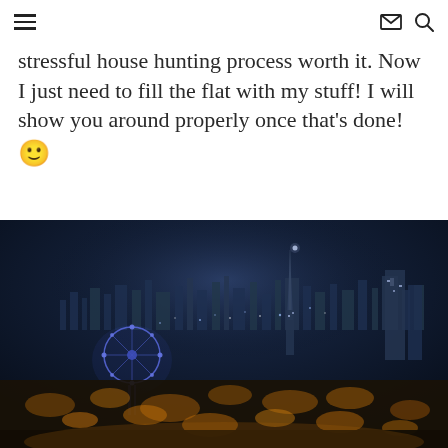[hamburger menu icon] [mail icon] [search icon]
stressful house hunting process worth it. Now I just need to fill the flat with my stuff! I will show you around properly once that's done! 🙂
[Figure (photo): Aerial night view of London cityscape showing the London Eye ferris wheel illuminated in blue/purple on the left, with city lights stretching across the skyline, dark sky above, and warm orange street lights in the foreground streets below.]